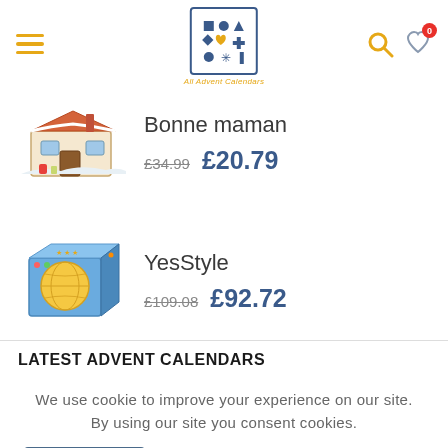All Advent Calendars - navigation header with logo, hamburger menu, search and wishlist icons
[Figure (illustration): Bonne maman advent calendar product image - a festive house-shaped box]
Bonne maman £34.99 £20.79
[Figure (illustration): YesStyle advent calendar product image - a blue box with colorful design]
YesStyle £109.08 £92.72
LATEST ADVENT CALENDARS
We use cookie to improve your experience on our site. By using our site you consent cookies.